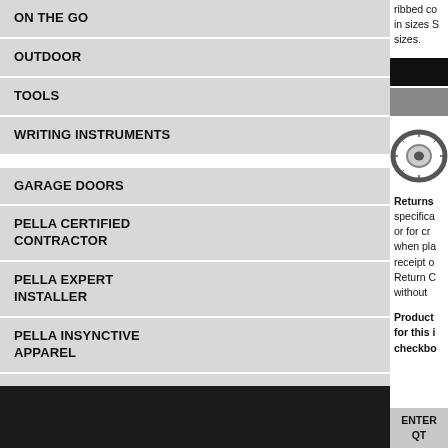ON THE GO
OUTDOOR
TOOLS
WRITING INSTRUMENTS
GARAGE DOORS
PELLA CERTIFIED CONTRACTOR
PELLA EXPERT INSTALLER
PELLA INSYNCTIVE APPAREL
PELLA PLATINUM CERTIFIED CONTRACTOR
PELLA UNIFORM
NEW ARRIVALS
TOP SELLERS
SALE ITEMS
ribbed co in sizes S sizes.
[Figure (illustration): Black and gray color swatches]
[Figure (illustration): Tape measure icon]
Returns specific or for cr when pla receipt o Return C without
Product for this i checkbo
ENTER QT